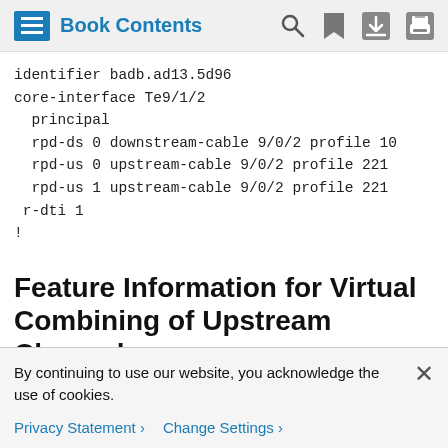Book Contents
identifier badb.ad13.5d96
core-interface Te9/1/2
  principal
  rpd-ds 0 downstream-cable 9/0/2 profile 10
  rpd-us 0 upstream-cable 9/0/2 profile 221
  rpd-us 1 upstream-cable 9/0/2 profile 221
 r-dti 1
!
Feature Information for Virtual Combining of Upstream Channels
Use Cisco Feature Navigator to find information about the
By continuing to use our website, you acknowledge the use of cookies.
Privacy Statement > Change Settings >